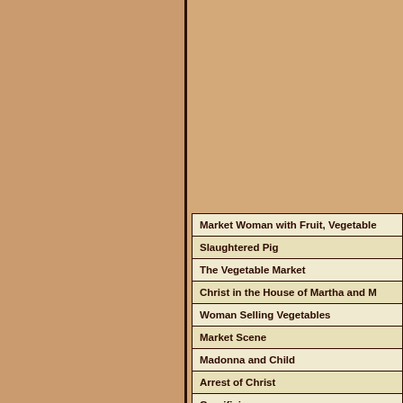| Market Woman with Fruit, Vegetable |
| Slaughtered Pig |
| The Vegetable Market |
| Christ in the House of Martha and M |
| Woman Selling Vegetables |
| Market Scene |
| Madonna and Child |
| Arrest of Christ |
| Crucifixion |